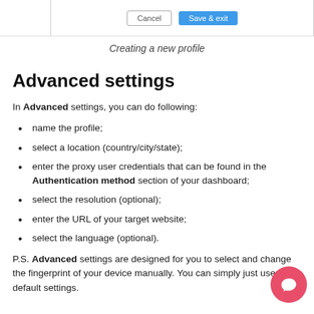[Figure (screenshot): Top bar of a web dialog with Cancel and Save & exit buttons]
Creating a new profile
Advanced settings
In Advanced settings, you can do following:
name the profile;
select a location (country/city/state);
enter the proxy user credentials that can be found in the Authentication method section of your dashboard;
select the resolution (optional);
enter the URL of your target website;
select the language (optional).
P.S. Advanced settings are designed for you to select and change the fingerprint of your device manually. You can simply just use the default settings.